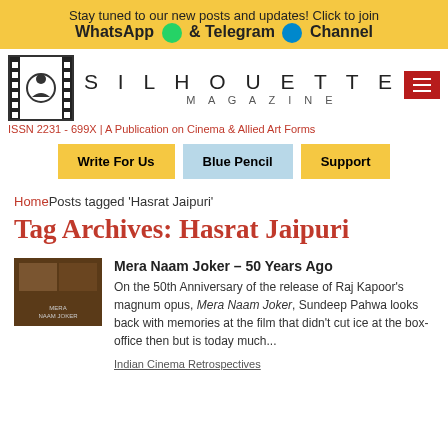Stay tuned to our new posts and updates! Click to join WhatsApp & Telegram Channel
[Figure (logo): Silhouette Magazine logo with film strip icon]
SILHOUETTE MAGAZINE
ISSN 2231 - 699X | A Publication on Cinema & Allied Art Forms
Write For Us
Blue Pencil
Support
Home Posts tagged 'Hasrat Jaipuri'
Tag Archives: Hasrat Jaipuri
[Figure (photo): Thumbnail image for Mera Naam Joker article]
Mera Naam Joker – 50 Years Ago
On the 50th Anniversary of the release of Raj Kapoor's magnum opus, Mera Naam Joker, Sundeep Pahwa looks back with memories at the film that didn't cut ice at the box-office then but is today much...
Indian Cinema Retrospectives